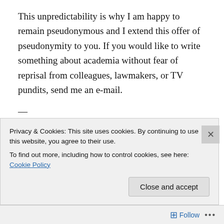This unpredictability is why I am happy to remain pseudonymous and I extend this offer of pseudonymity to you. If you would like to write something about academia without fear of reprisal from colleagues, lawmakers, or TV pundits, send me an e-mail.
—
“Like” Memoirs of a SLACer on Facebook to receive pseudonymous updates and links via your news feed.
May 21, 2015
Privacy & Cookies: This site uses cookies. By continuing to use this website, you agree to their use.
To find out more, including how to control cookies, see here: Cookie Policy
Close and accept
Follow